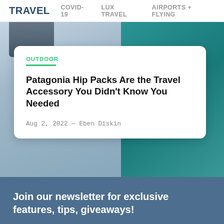TRAVEL  COVID-19  LUX TRAVEL  AIRPORTS + FLYING
[Figure (photo): Hero image showing a person with a Patagonia bag against a teal background, partially visible]
OUTDOOR
Patagonia Hip Packs Are the Travel Accessory You Didn't Know You Needed
Aug 2, 2022 — Eben Diskin
Join our newsletter for exclusive features, tips, giveaways!
Your Name